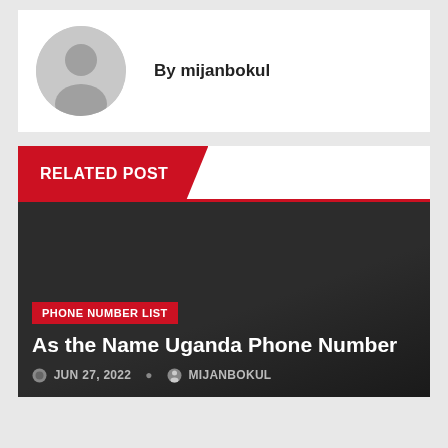By mijanbokul
RELATED POST
PHONE NUMBER LIST
As the Name Uganda Phone Number
JUN 27, 2022   MIJANBOKUL